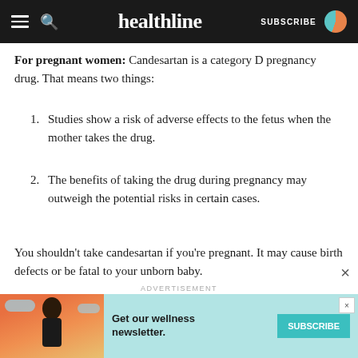healthline — SUBSCRIBE
For pregnant women: Candesartan is a category D pregnancy drug. That means two things:
1. Studies show a risk of adverse effects to the fetus when the mother takes the drug.
2. The benefits of taking the drug during pregnancy may outweigh the potential risks in certain cases.
You shouldn't take candesartan if you're pregnant. It may cause birth defects or be fatal to your unborn baby.
Tell your doctor if you're pregnant or plan to become
[Figure (screenshot): Advertisement banner: Get our wellness newsletter. Subscribe button. Shows illustrated woman with orange/red background and cloud graphics.]